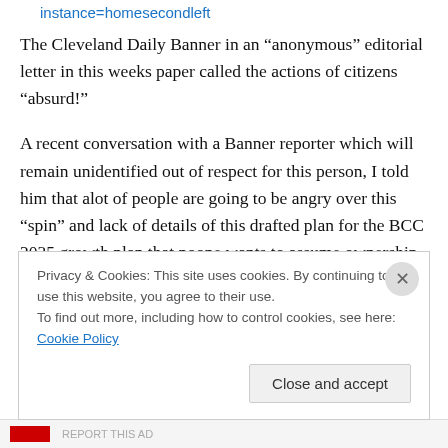instance=homesecondleft
The Cleveland Daily Banner in an “anonymous” editorial letter in this weeks paper called the actions of citizens “absurd!”
A recent conversation with a Banner reporter which will remain unidentified out of respect for this person, I told him that alot of people are going to be angry over this “spin” and lack of details of this drafted plan for the BCC 2035 growth plan that noone wants to assume ownership of and the local press is only offering one side of the story.
Privacy & Cookies: This site uses cookies. By continuing to use this website, you agree to their use.
To find out more, including how to control cookies, see here: Cookie Policy
Close and accept